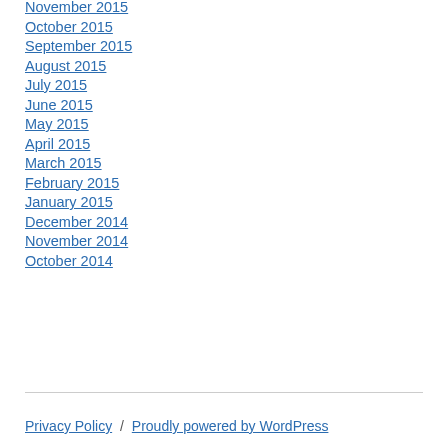November 2015
October 2015
September 2015
August 2015
July 2015
June 2015
May 2015
April 2015
March 2015
February 2015
January 2015
December 2014
November 2014
October 2014
Privacy Policy / Proudly powered by WordPress